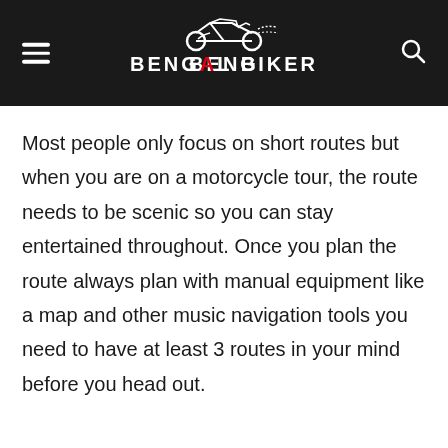Bengal Biker
Most people only focus on short routes but when you are on a motorcycle tour, the route needs to be scenic so you can stay entertained throughout. Once you plan the route always plan with manual equipment like a map and other music navigation tools you need to have at least 3 routes in your mind before you head out.